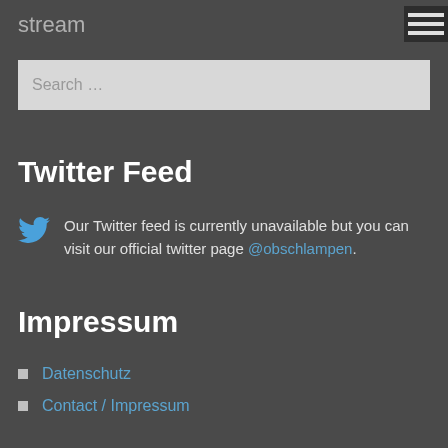stream
Search ...
Twitter Feed
Our Twitter feed is currently unavailable but you can visit our official twitter page @obschlampen.
Impressum
Datenschutz
Contact / Impressum